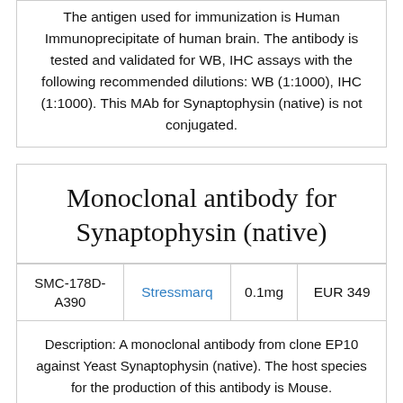The antigen used for immunization is Human Immunoprecipitate of human brain. The antibody is tested and validated for WB, IHC assays with the following recommended dilutions: WB (1:1000), IHC (1:1000). This MAb for Synaptophysin (native) is not conjugated.
Monoclonal antibody for Synaptophysin (native)
|  |  |  |  |
| --- | --- | --- | --- |
| SMC-178D-A390 | Stressmarq | 0.1mg | EUR 349 |
Description: A monoclonal antibody from clone EP10 against Yeast Synaptophysin (native). The host species for the production of this antibody is Mouse.